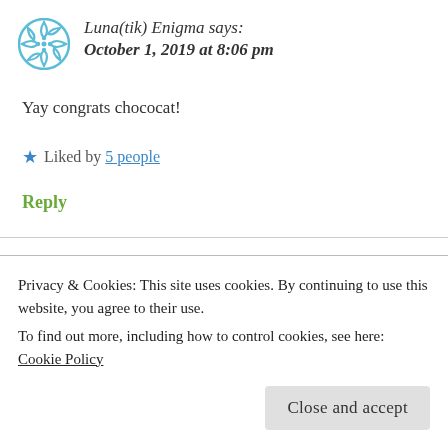[Figure (illustration): Blue decorative avatar icon, circular pattern with dots]
Luna(tik) Enigma says:
October 1, 2019 at 8:06 pm
Yay congrats chococat!
★ Liked by 5 people
Reply
Chocoviv says:
October 1, 2019 at 10:10 pm
Privacy & Cookies: This site uses cookies. By continuing to use this website, you agree to their use.
To find out more, including how to control cookies, see here: Cookie Policy
Close and accept